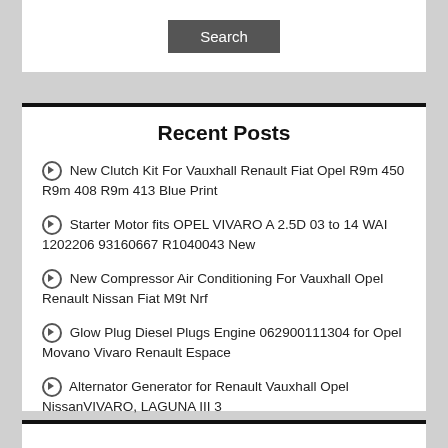Recent Posts
New Clutch Kit For Vauxhall Renault Fiat Opel R9m 450 R9m 408 R9m 413 Blue Print
Starter Motor fits OPEL VIVARO A 2.5D 03 to 14 WAI 1202206 93160667 R1040043 New
New Compressor Air Conditioning For Vauxhall Opel Renault Nissan Fiat M9t Nrf
Glow Plug Diesel Plugs Engine 062900111304 for Opel Movano Vivaro Renault Espace
Alternator Generator for Renault Vauxhall Opel NissanVIVARO, LAGUNA III 3